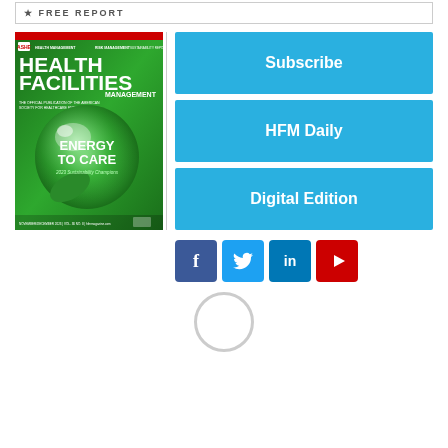FREE REPORT
[Figure (illustration): Health Facilities Management magazine cover with green glowing orb, title ENERGY TO CARE, 2023 Sustainability Champions]
[Figure (infographic): Subscribe button (cyan), HFM Daily button (cyan), Digital Edition button (cyan)]
[Figure (infographic): Social media icons: Facebook (blue), Twitter (blue), LinkedIn (blue), YouTube (red)]
[Figure (other): Loading spinner circle]